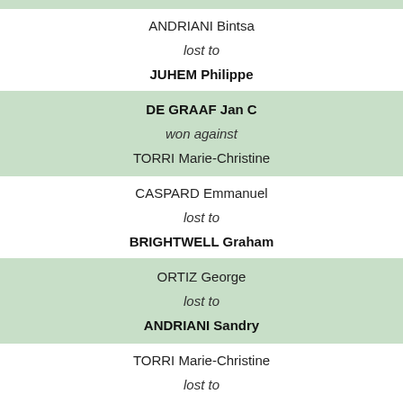ANDRIANI Bintsa
lost to
JUHEM Philippe
DE GRAAF Jan C
won against
TORRI Marie-Christine
CASPARD Emmanuel
lost to
BRIGHTWELL Graham
ORTIZ George
lost to
ANDRIANI Sandry
TORRI Marie-Christine
lost to